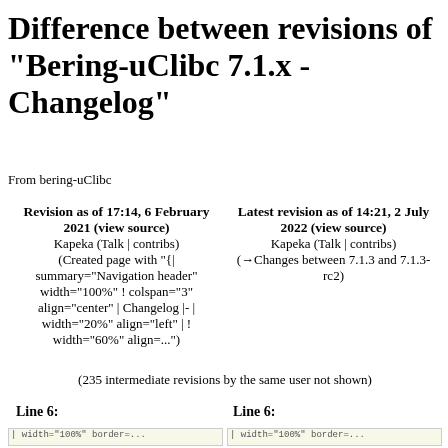Difference between revisions of "Bering-uClibc 7.1.x - Changelog"
From bering-uClibc
| Revision as of 17:14, 6 February 2021 (view source) | Latest revision as of 14:21, 2 July 2022 (view source) |
| --- | --- |
| Kapeka (Talk | contribs)
(Created page with "{|
summary="Navigation header"
width="100%" ! colspan="3"
align="center" | Changelog |-|
width="20%" align="left" | !
width="60%" align=...") | Kapeka (Talk | contribs)
(→Changes between 7.1.3 and
7.1.3-rc2) |
(235 intermediate revisions by the same user not shown)
Line 6:
Line 6: